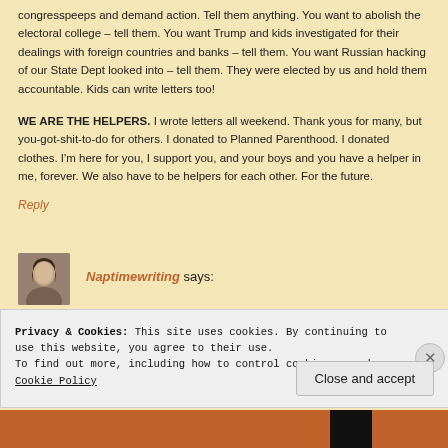congresspeeps and demand action. Tell them anything. You want to abolish the electoral college – tell them. You want Trump and kids investigated for their dealings with foreign countries and banks – tell them. You want Russian hacking of our State Dept looked into – tell them. They were elected by us and hold them accountable. Kids can write letters too!
WE ARE THE HELPERS. I wrote letters all weekend. Thank yous for many, but you-got-shit-to-do for others. I donated to Planned Parenthood. I donated clothes. I'm here for you, I support you, and your boys and you have a helper in me, forever. We also have to be helpers for each other. For the future.
Reply
Naptimewriting says:
Privacy & Cookies: This site uses cookies. By continuing to use this website, you agree to their use.
To find out more, including how to control cookies, see here: Cookie Policy
Close and accept